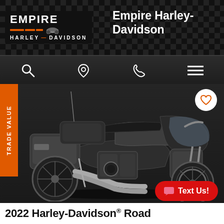[Figure (logo): Empire Harley-Davidson dealership logo with orange stripes and motorcycle silhouette]
Empire Harley-Davidson
[Figure (photo): Harley-Davidson motorcycle (touring/Road Glide style) in dark gray/charcoal color on dark background, shown in profile view from the right side]
TRADE VALUE
Text Us!
2022 Harley-Davidson® Road